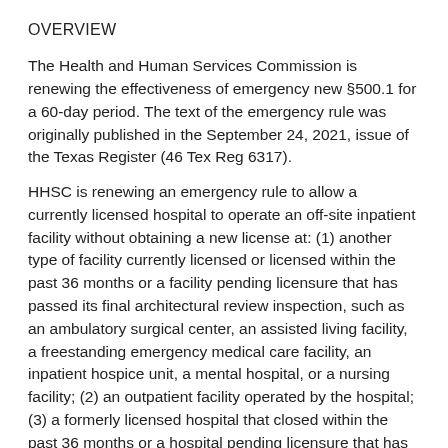OVERVIEW
The Health and Human Services Commission is renewing the effectiveness of emergency new §500.1 for a 60-day period. The text of the emergency rule was originally published in the September 24, 2021, issue of the Texas Register (46 Tex Reg 6317).
HHSC is renewing an emergency rule to allow a currently licensed hospital to operate an off-site inpatient facility without obtaining a new license at: (1) another type of facility currently licensed or licensed within the past 36 months or a facility pending licensure that has passed its final architectural review inspection, such as an ambulatory surgical center, an assisted living facility, a freestanding emergency medical care facility, an inpatient hospice unit, a mental hospital, or a nursing facility; (2) an outpatient facility operated by the hospital; (3) a formerly licensed hospital that closed within the past 36 months or a hospital pending licensure that has passed its final architectural review inspection; (4) a hospital exempt from licensure; and (5) a mobile, transportable, or relocatable unit.
To allow operation of additional off-site facilities, this emergency